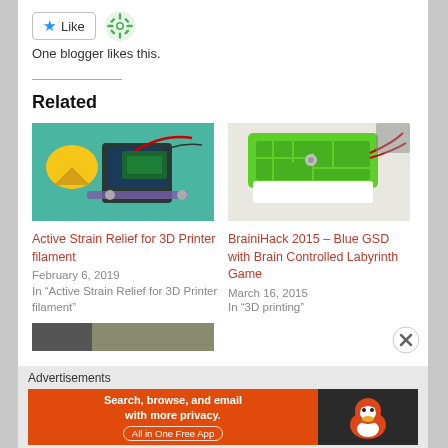[Figure (other): Like button with blue star icon and a green decorative snowflake/gear avatar icon]
One blogger likes this.
Related
[Figure (photo): Photo of a robotic device with yellow funnel/speaker and electronic components on teal background]
Active Strain Relief for 3D Printer filament
February 6, 2019
In “Active Strain Relief for 3D Printer filament”
[Figure (photo): Photo of a green 3D printed labyrinth/maze device with white base and wiring]
BrainiHack 2015 – Blue GSD with Brain Controlled Labyrinth Game
March 16, 2015
In “3D printing”
[Figure (photo): Partial photo visible at bottom left]
Advertisements
[Figure (screenshot): DuckDuckGo advertisement banner: orange section with text 'Search, browse, and email with more privacy. All in One Free App' and dark section with DuckDuckGo duck logo]